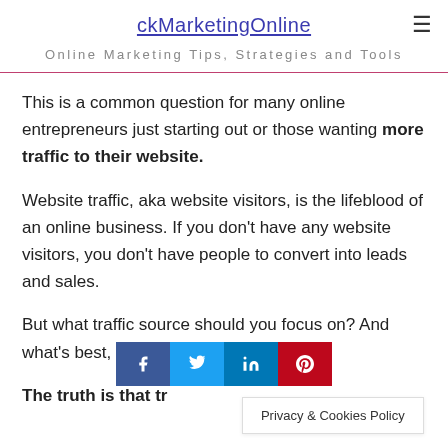ckMarketingOnline
Online Marketing Tips, Strategies and Tools
This is a common question for many online entrepreneurs just starting out or those wanting more traffic to their website.
Website traffic, aka website visitors, is the lifeblood of an online business. If you don't have any website visitors, you don't have people to convert into leads and sales.
But what traffic source should you focus on? And what's best, FREE or PAID traffic?
The truth is that tr…
[Figure (other): Social share buttons: Facebook, Twitter, LinkedIn, Pinterest]
Privacy & Cookies Policy